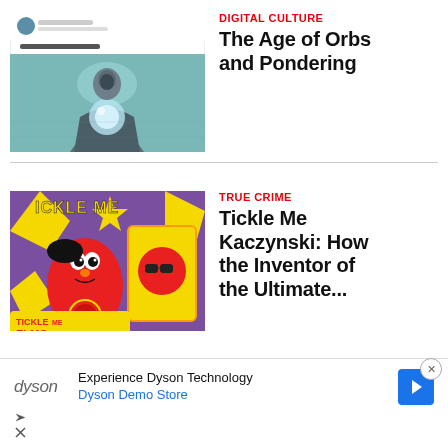[Figure (screenshot): Screenshot of a tweet showing a robed figure pondering a glowing orb, with tweet text 'pondering my orb' and username visible]
DIGITAL CULTURE
The Age of Orbs and Pondering
[Figure (photo): Tickle Me Elmo toy packaging showing Elmo characters with text 'TICKLE ME ELMO' and 'ICKLE ME' visible in colorful styling]
TRUE CRIME
Tickle Me Kaczynski: How the Inventor of the Ultimate...
Experience Dyson Technology
Dyson Demo Store